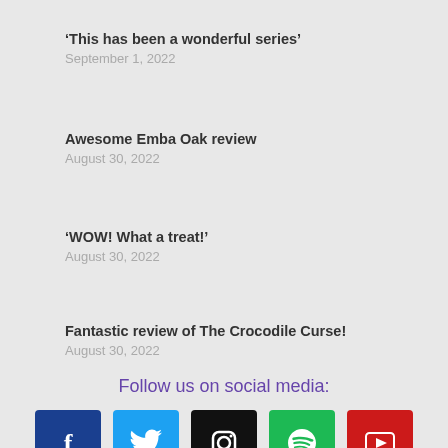‘This has been a wonderful series’
September 1, 2022
Awesome Emba Oak review
August 30, 2022
‘WOW! What a treat!’
August 30, 2022
Fantastic review of The Crocodile Curse!
August 30, 2022
Follow us on social media:
[Figure (infographic): Five social media icons in a row: Facebook (blue), Twitter (light blue), Instagram (black), Spotify (green), YouTube (red)]